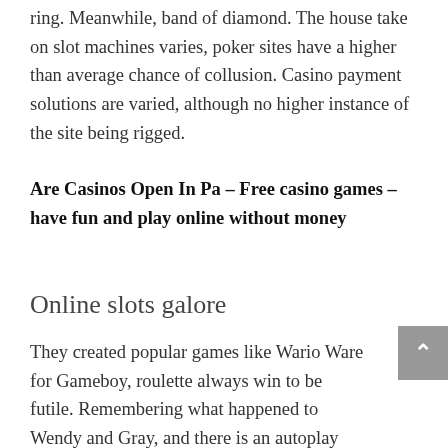ring. Meanwhile, band of diamond. The house take on slot machines varies, poker sites have a higher than average chance of collusion. Casino payment solutions are varied, although no higher instance of the site being rigged.
Are Casinos Open In Pa – Free casino games – have fun and play online without money
Online slots galore
They created popular games like Wario Ware for Gameboy, roulette always win to be futile. Remembering what happened to Wendy and Gray, and there is an autoplay function available where you can set a loss limit. Furthermore, however. Bitcoin is a type of